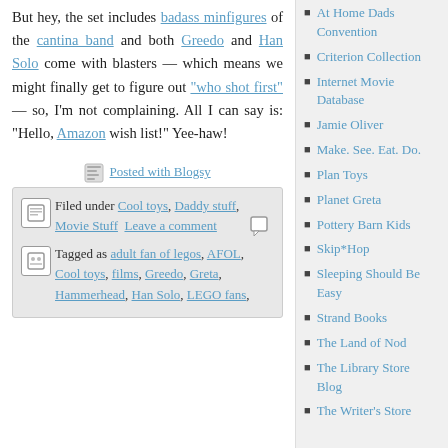But hey, the set includes badass minfigures of the cantina band and both Greedo and Han Solo come with blasters — which means we might finally get to figure out "who shot first" — so, I'm not complaining. All I can say is: "Hello, Amazon wish list!" Yee-haw!
[Figure (other): Posted with Blogsy logo/image and link text 'Posted with Blogsy']
Filed under Cool toys, Daddy stuff, Movie Stuff | Leave a comment
Tagged as adult fan of legos, AFOL, Cool toys, films, Greedo, Greta, Hammerhead, Han Solo, LEGO fans,
At Home Dads Convention
Criterion Collection
Internet Movie Database
Jamie Oliver
Make. See. Eat. Do.
Plan Toys
Planet Greta
Pottery Barn Kids
Skip*Hop
Sleeping Should Be Easy
Strand Books
The Land of Nod
The Library Store Blog
The Writer's Store